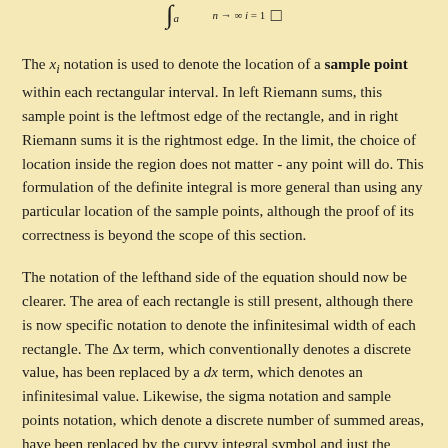The x_i notation is used to denote the location of a sample point within each rectangular interval. In left Riemann sums, this sample point is the leftmost edge of the rectangle, and in right Riemann sums it is the rightmost edge. In the limit, the choice of location inside the region does not matter - any point will do. This formulation of the definite integral is more general than using any particular location of the sample points, although the proof of its correctness is beyond the scope of this section.
The notation of the lefthand side of the equation should now be clearer. The area of each rectangle is still present, although there is now specific notation to denote the infinitesimal width of each rectangle. The Δx term, which conventionally denotes a discrete value, has been replaced by a dx term, which denotes an infinitesimal value. Likewise, the sigma notation and sample points notation, which denote a discrete number of summed areas, have been replaced by the curvy integral symbol and just the regular f(x) notation, which denote a continuous accumulation of area.